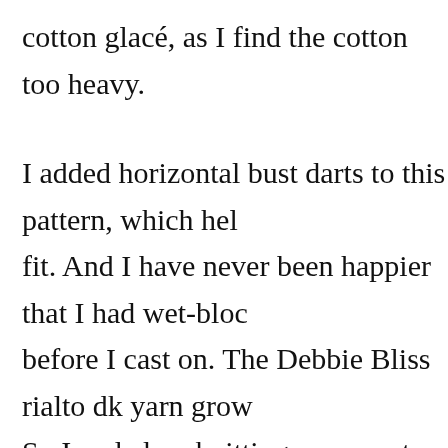cotton glacé, as I find the cotton too heavy.
I added horizontal bust darts to this pattern, which hel fit. And I have never been happier that I had wet-bloc before I cast on. The Debbie Bliss rialto dk yarn grow So I ended up knitting my sweater in a size small inst Once I washed my pieces, they spread out into the lar just right!